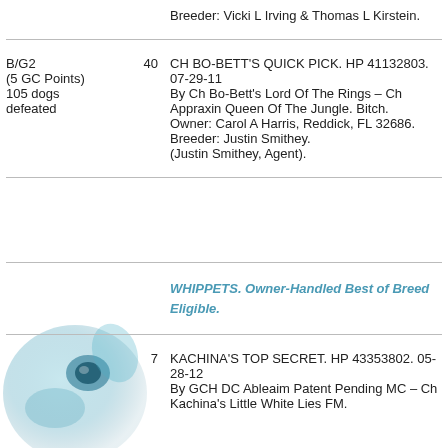|  |  | Breeder: Vicki L Irving & Thomas L Kirstein. |
| B/G2
(5 GC Points)
105 dogs defeated | 40 | CH BO-BETT'S QUICK PICK. HP 41132803. 07-29-11
By Ch Bo-Bett's Lord Of The Rings – Ch Appraxin Queen Of The Jungle. Bitch.
Owner: Carol A Harris, Reddick, FL 32686.
Breeder: Justin Smithey.
(Justin Smithey, Agent). |
|  |  | WHIPPETS. Owner-Handled Best of Breed Eligible. |
|  | 7 | KACHINA'S TOP SECRET. HP 43353802. 05-28-12
By GCH DC Ableaim Patent Pending MC – Ch Kachina's Little White Lies FM. |